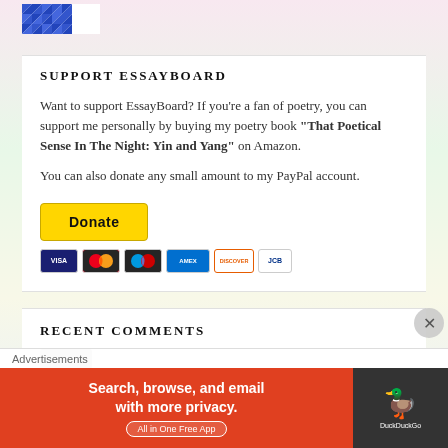[Figure (logo): Blue geometric/mosaic logo pattern in top left corner]
SUPPORT ESSAYBOARD
Want to support EssayBoard? If you're a fan of poetry, you can support me personally by buying my poetry book "That Poetical Sense In The Night: Yin and Yang" on Amazon.
You can also donate any small amount to my PayPal account.
[Figure (other): Yellow PayPal Donate button followed by credit card logos (Visa, Mastercard, Maestro, Amex, Discover, JCB)]
RECENT COMMENTS
[Figure (other): Small blurred avatar/image in recent comments section]
Advertisements
[Figure (other): DuckDuckGo advertisement banner: Search, browse, and email with more privacy. All in One Free App]